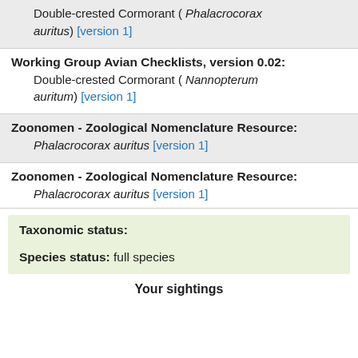Double-crested Cormorant ( Phalacrocorax auritus) [version 1]
Working Group Avian Checklists, version 0.02: Double-crested Cormorant ( Nannopterum auritum) [version 1]
Zoonomen - Zoological Nomenclature Resource: Phalacrocorax auritus [version 1]
Zoonomen - Zoological Nomenclature Resource: Phalacrocorax auritus [version 1]
Taxonomic status: Species status: full species
Your sightings